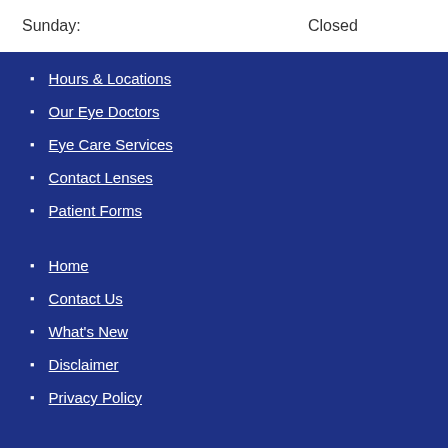Sunday:    Closed
Hours & Locations
Our Eye Doctors
Eye Care Services
Contact Lenses
Patient Forms
Home
Contact Us
What's New
Disclaimer
Privacy Policy